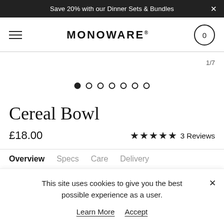Save 20% with our Dinner Sets & Bundles
MONOWARE®
[Figure (other): Product image carousel area showing 1/7 images with 7 navigation dots, first dot filled]
Cereal Bowl
£18.00  ★★★★★ 3 Reviews
Overview  Specs  Care  Delivery
This site uses cookies to give you the best possible experience as a user.
Learn More  Accept